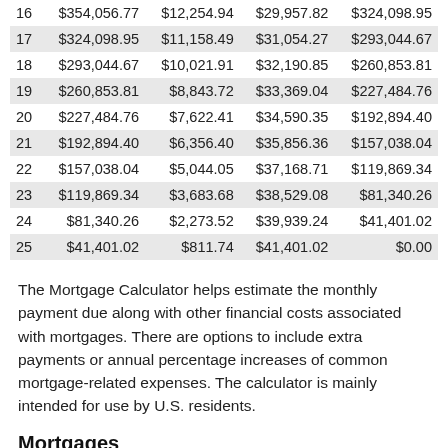|  | Beginning Balance | Interest | Principal | Ending Balance |
| --- | --- | --- | --- | --- |
| 16 | $354,056.77 | $12,254.94 | $29,957.82 | $324,098.95 |
| 17 | $324,098.95 | $11,158.49 | $31,054.27 | $293,044.67 |
| 18 | $293,044.67 | $10,021.91 | $32,190.85 | $260,853.81 |
| 19 | $260,853.81 | $8,843.72 | $33,369.04 | $227,484.76 |
| 20 | $227,484.76 | $7,622.41 | $34,590.35 | $192,894.40 |
| 21 | $192,894.40 | $6,356.40 | $35,856.36 | $157,038.04 |
| 22 | $157,038.04 | $5,044.05 | $37,168.71 | $119,869.34 |
| 23 | $119,869.34 | $3,683.68 | $38,529.08 | $81,340.26 |
| 24 | $81,340.26 | $2,273.52 | $39,939.24 | $41,401.02 |
| 25 | $41,401.02 | $811.74 | $41,401.02 | $0.00 |
The Mortgage Calculator helps estimate the monthly payment due along with other financial costs associated with mortgages. There are options to include extra payments or annual percentage increases of common mortgage-related expenses. The calculator is mainly intended for use by U.S. residents.
Mortgages
A mortgage is a loan secured by property, usually real